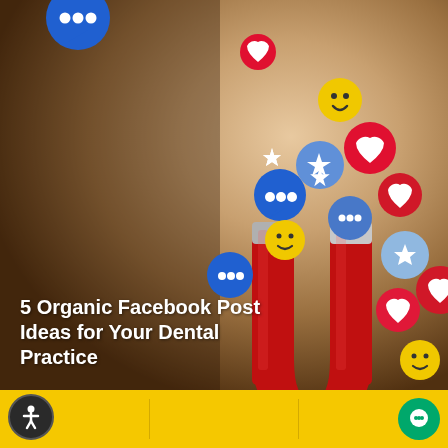[Figure (photo): A 3D render of social media icons (emoji faces, hearts, stars, chat bubbles in blue and red) being attracted to a red horseshoe magnet on a warm beige/brown gradient background. Represents organic social media engagement for dental practices.]
5 Organic Facebook Post Ideas for Your Dental Practice